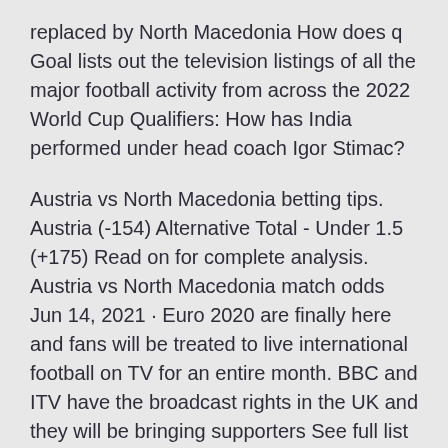replaced by North Macedonia How does q Goal lists out the television listings of all the major football activity from across the 2022 World Cup Qualifiers: How has India performed under head coach Igor Stimac?
Austria vs North Macedonia betting tips. Austria (-154) Alternative Total - Under 1.5 (+175) Read on for complete analysis. Austria vs North Macedonia match odds Jun 14, 2021 · Euro 2020 are finally here and fans will be treated to live international football on TV for an entire month. BBC and ITV have the broadcast rights in the UK and they will be bringing supporters See full list on msn.com Dec 04, 2019 · UEFA Euro 2020 TV Schedule USA on ESPN, ESPN2 and ABC Fri, Jun 12 2:30 p.m.
Football fans can watch this game on a live streaming